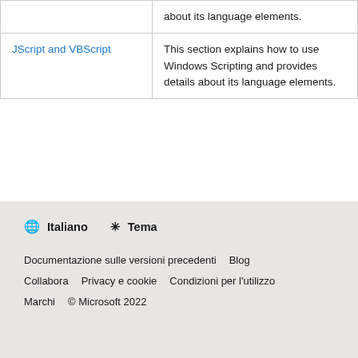|  | about its language elements. |
| JScript and VBScript | This section explains how to use Windows Scripting and provides details about its language elements. |
🌐 Italiano  ☀ Tema
Documentazione sulle versioni precedenti  Blog
Collabora  Privacy e cookie  Condizioni per l'utilizzo
Marchi  © Microsoft 2022